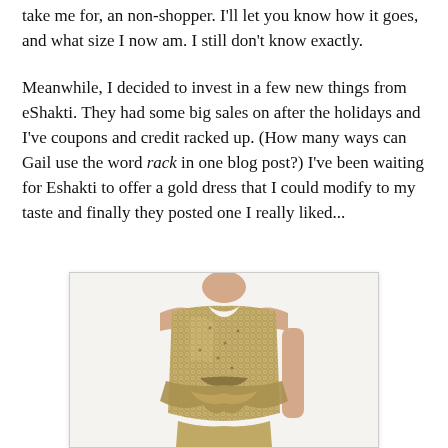take me for, an non-shopper. I'll let you know how it goes, and what size I now am. I still don't know exactly.
Meanwhile, I decided to invest in a few new things from eShakti. They had some big sales on after the holidays and I've coupons and credit racked up. (How many ways can Gail use the word rack in one blog post?) I've been waiting for Eshakti to offer a gold dress that I could modify to my taste and finally they posted one I really liked...
[Figure (photo): A woman wearing a sleeveless gold/metallic sequined dress with a peplum ruffle at the waist and a notched neckline, shown from shoulders to mid-thigh against a white background.]